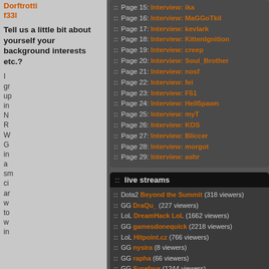Dorftrotti f33l
Tell us a little bit about yourself your background interests etc.?
I gr up in N R W G in a sm ci ar w to w in
Page 15: Interview: ika
Page 16: Interview: MaGGoTkil
Page 17: Interview: kevlark
Page 18: Interview: KittenIgnition
Page 19: Interview: creep
Page 20: Interview: Soul_Brother
Page 21: Interview: nosf
Page 22: Interview: fei
Page 23: Interview: F51
Page 24: Interview: Hell5pawn
Page 25: Interview: myT
Page 26: Interview: KOS
Page 27: Interview: Bliccer
Page 28: Interview: morgot
Page 29: Interview: ashr
:: live streams
Dota2 Beyond the Summit (318 viewers)
GG DraQu_ (227 viewers)
LoL DreamHack LoL (1662 viewers)
GG gamesdonequick (2218 viewers)
LoL Hitpoint.cz (766 viewers)
GG nysira (8 viewers)
GG rapha (66 viewers)
GG Surefour (1244 viewers)
:: scheduled listings